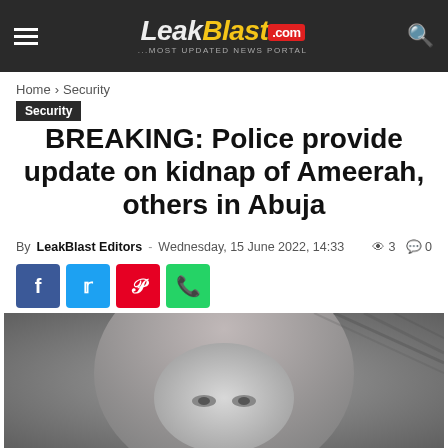LeakBlast.Com — ...MOST UPDATED NEWS PORTAL
Home › Security
Security
BREAKING: Police provide update on kidnap of Ameerah, others in Abuja
By LeakBlast Editors - Wednesday, 15 June 2022, 14:33   👁 3   💬 0
[Figure (screenshot): Social share buttons: Facebook, Twitter, Pinterest, WhatsApp]
[Figure (photo): Black and white portrait photo of a woman wearing a hijab]